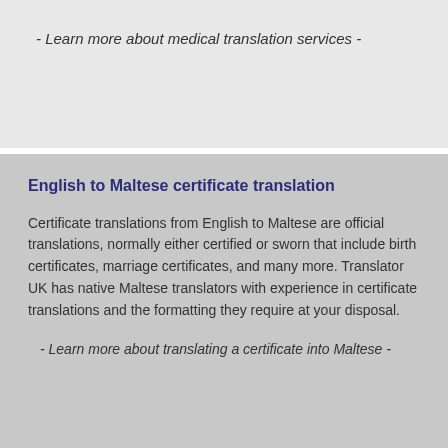- Learn more about medical translation services -
English to Maltese certificate translation
Certificate translations from English to Maltese are official translations, normally either certified or sworn that include birth certificates, marriage certificates, and many more. Translator UK has native Maltese translators with experience in certificate translations and the formatting they require at your disposal.
- Learn more about translating a certificate into Maltese -